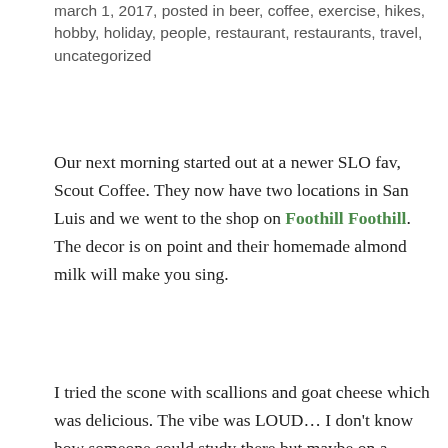march 1, 2017, posted in beer, coffee, exercise, hikes, hobby, holiday, people, restaurant, restaurants, travel, uncategorized
Our next morning started out at a newer SLO fav, Scout Coffee. They now have two locations in San Luis and we went to the shop on Foothill Foothill. The decor is on point and their homemade almond milk will make you sing.
I tried the scone with scallions and goat cheese which was delicious. The vibe was LOUD... I don't know how someone could study there but maybe on a weekday it would be less rambunctious. [scoutcoffeeimg_3454] [scoutcoffeeimg_3456]
After our coffee and pastries, we headed to Avila to hike the Ridge Trail. This time we parked closer to Pirates Cove... off Cave Landing.